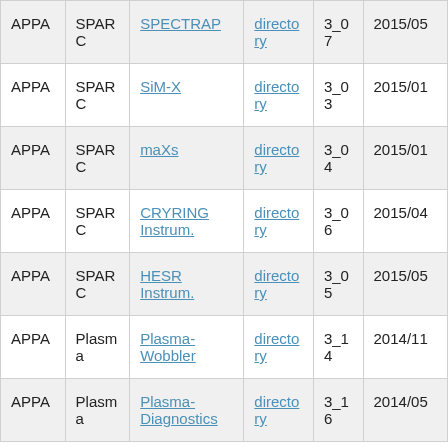| APPA | SPARC | SPECTRAP | directory | 3_07 | 2015/05 |
| APPA | SPARC | SiM-X | directory | 3_03 | 2015/01 |
| APPA | SPARC | maXs | directory | 3_04 | 2015/01 |
| APPA | SPARC | CRYRING Instrum. | directory | 3_06 | 2015/04 |
| APPA | SPARC | HESR Instrum. | directory | 3_05 | 2015/05 |
| APPA | Plasma | Plasma-Wobbler | directory | 3_14 | 2014/11 |
| APPA | Plasma | Plasma-Diagnostics | directory | 3_16 | 2014/05 |